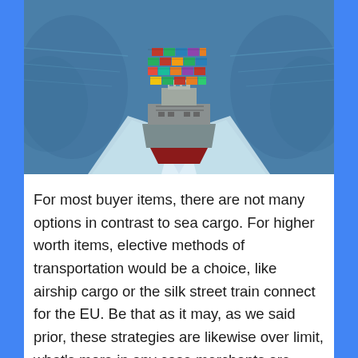[Figure (photo): Aerial view of a large container ship loaded with colorful shipping containers (red, green, yellow, orange, blue) sailing through blue ocean water, viewed from above and behind, with white wake visible on both sides.]
For most buyer items, there are not many options in contrast to sea cargo. For higher worth items, elective methods of transportation would be a choice, like airship cargo or the silk street train connect for the EU. Be that as it may, as we said prior, these strategies are likewise over limit, what's more in any case merchants are seeing huge increments to their obtaining costs. This